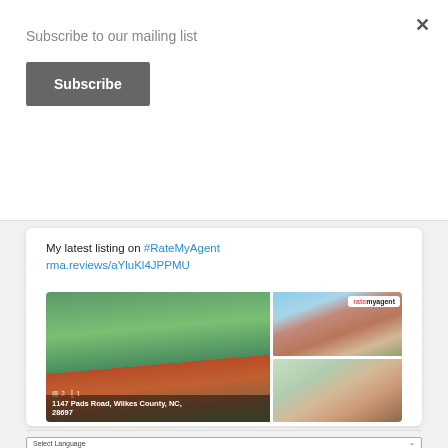Subscribe to our mailing list
Subscribe
My latest listing on #RateMyAgent rma.reviews/aYluKl4JPPMU
[Figure (photo): Real estate listing photos of a brick ranch house at 1147 Pads Road, Wilkes County, NC, 28697, showing front exterior with green lawn and trees, plus two smaller photos of other exterior angles, with ratemyagent branding badge.]
Select Language